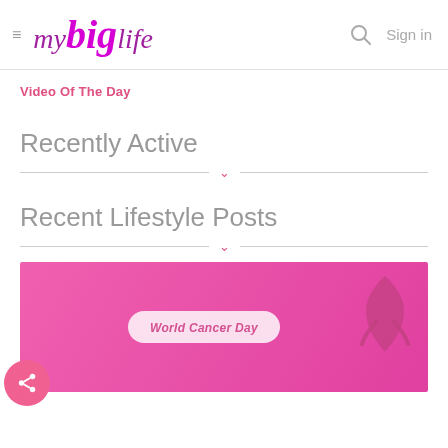my big life — Sign in
Video Of The Day
Recently Active
Recent Lifestyle Posts
[Figure (photo): Pink background with a pink ribbon and text banner reading 'World Cancer Day']